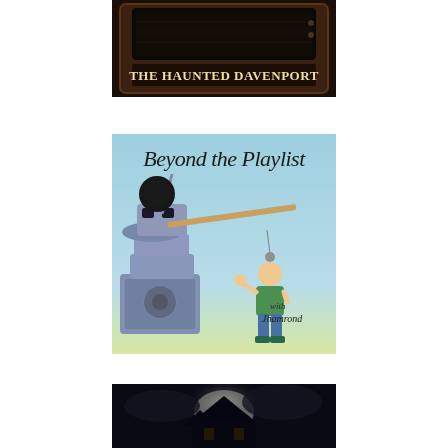[Figure (illustration): Podcast or show cover art for 'The Haunted Davenport' — dark brown/black background showing a vintage television set with text 'The Haunted Davenport' displayed on screen in serif font]
[Figure (illustration): Podcast or show cover art for 'Beyond the Playlist' — light blue/teal background with cartoon illustration of a bald man in green shirt holding a large guitar neck/boom, surrounded by a pile of music equipment on left side. Text reads 'Beyond the Playlist with Jhamrond']
[Figure (illustration): Podcast or show cover art for 'The Undead' — dark moody background with silhouette of a haunted house and the text 'The Undead' in green bubbly letters partially visible at bottom]